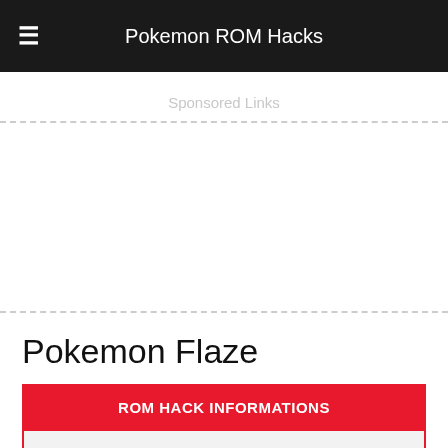Pokemon ROM Hacks
Sponsored Links
Pokemon Flaze
| ROM HACK INFORMATIONS |
| --- |
| Author: | PokemonAce123 |